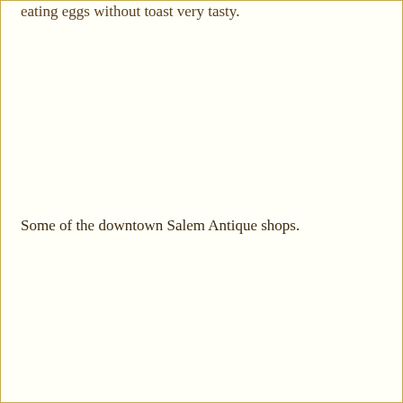eating eggs without toast very tasty.
Some of the downtown Salem Antique shops.